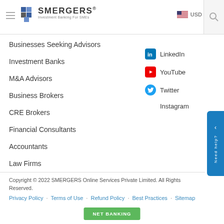SMERGERS - Investment Banking For SMEs
Businesses Seeking Advisors
Investment Banks
M&A Advisors
Business Brokers
CRE Brokers
Financial Consultants
Accountants
Law Firms
LinkedIn
YouTube
Twitter
Instagram
Copyright © 2022 SMERGERS Online Services Private Limited. All Rights Reserved.
Privacy Policy · Terms of Use · Refund Policy · Best Practices · Sitemap
NET BANKING